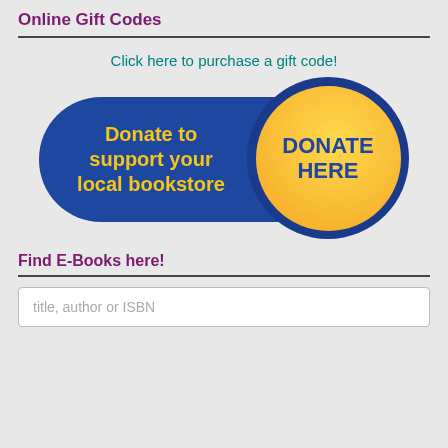Online Gift Codes
Click here to purchase a gift code!
[Figure (illustration): A blue rounded pill-shaped button with yellow text reading 'Donate to support your local bookstore' and a large gold circle on the right with blue text 'DONATE HERE']
Find E-Books here!
title, author or ISBN